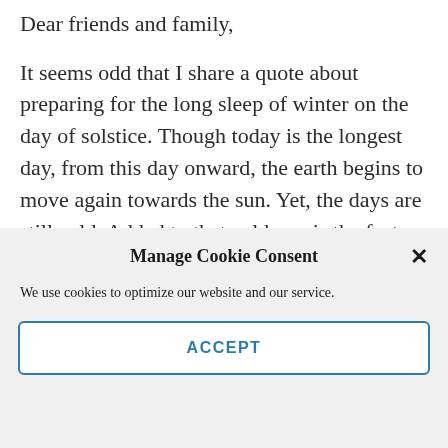Dear friends and family,
It seems odd that I share a quote about preparing for the long sleep of winter on the day of solstice. Though today is the longest day, from this day onward, the earth begins to move again towards the sun. Yet, the days are still cold. Added to that coldness is the fact that even though marketers would have us believe these are the happiest of times, death still happens. And even if death skips over our particular family or friends'
Manage Cookie Consent
We use cookies to optimize our website and our service.
ACCEPT